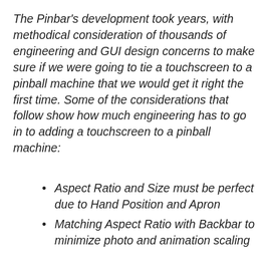The Pinbar's development took years, with methodical consideration of thousands of engineering and GUI design concerns to make sure if we were going to tie a touchscreen to a pinball machine that we would get it right the first time. Some of the considerations that follow show how much engineering has to go in to adding a touchscreen to a pinball machine:
Aspect Ratio and Size must be perfect due to Hand Position and Apron
Matching Aspect Ratio with Backbar to minimize photo and animation scaling